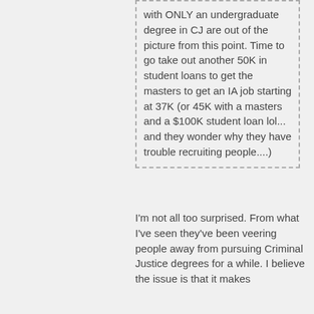with ONLY an undergraduate degree in CJ are out of the picture from this point. Time to go take out another 50K in student loans to get the masters to get an IA job starting at 37K (or 45K with a masters and a $100K student loan lol... and they wonder why they have trouble recruiting people....)
I'm not all too surprised. From what I've seen they've been veering people away from pursuing Criminal Justice degrees for a while. I believe the issue is that it makes